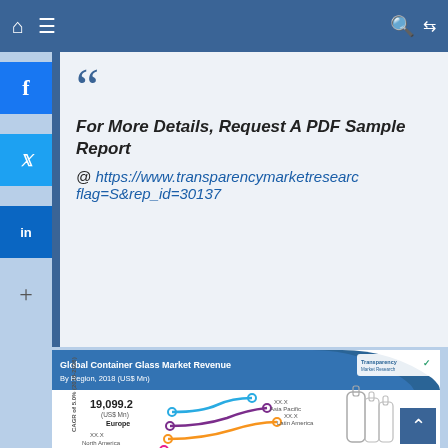Navigation bar with home, menu, search, and shuffle icons
For More Details, Request A PDF Sample Report @ https://www.transparencymarketresearch flag=S&rep_id=30137
[Figure (infographic): Global Container Glass Market Revenue By Region, 2018 (US$ Mn). Shows 19,099.2 US$ Mn for Europe, XX.X for North America, Asia Pacific, Latin America, Middle East and Africa. CAGR of 5.0% (2018-2026). Includes Transparency Market Research logo and glass bottle images.]